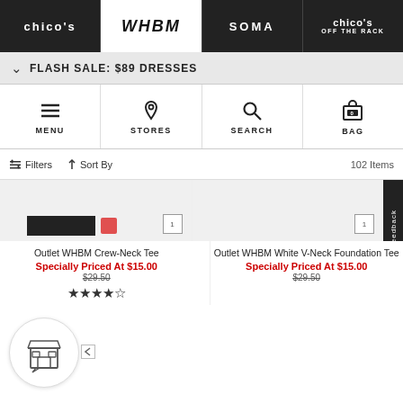[Figure (screenshot): Top navigation bar with brand logos: chico's, WHBM (active/white), SOMA, chico's OFF THE RACK]
FLASH SALE: $89 DRESSES
[Figure (screenshot): Icon navigation bar with MENU, STORES, SEARCH, BAG (0) icons]
Filters  Sort By  102 Items
[Figure (screenshot): Product image area showing top of two product cards with color swatches and size badges]
Outlet WHBM Crew-Neck Tee
Specially Priced At $15.00
$29.50
Outlet WHBM White V-Neck Foundation Tee
Specially Priced At $15.00
$29.50
[Figure (screenshot): Chat/store widget icon in bottom left corner with arrow]